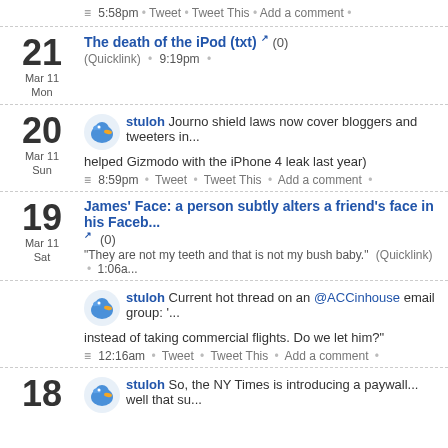5:58pm · Tweet · Tweet This · Add a comment
21 Mar 11 Mon — The death of the iPod (txt) (0) (Quicklink) · 9:19pm
20 Mar 11 Sun — stuloh Journo shield laws now cover bloggers and tweeters in... helped Gizmodo with the iPhone 4 leak last year) — 8:59pm · Tweet · Tweet This · Add a comment
19 Mar 11 Sat — James' Face: a person subtly alters a friend's face in his Faceb... (0) — "They are not my teeth and that is not my bush baby." (Quicklink) · 1:06a...
stuloh Current hot thread on an @ACCinhouse email group: '...' instead of taking commercial flights. Do we let him?" — 12:16am · Tweet · Tweet This · Add a comment
18 — stuloh So, the NY Times is introducing a paywall... well that su...